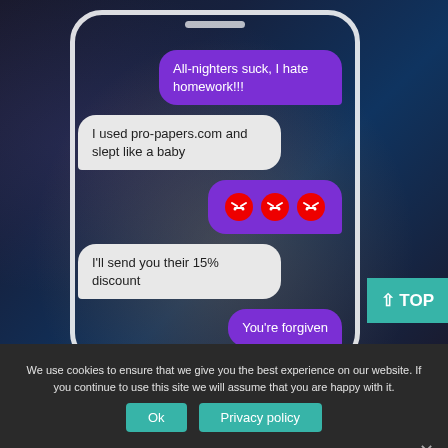[Figure (screenshot): Screenshot of a smartphone showing a text message conversation. Messages: 'All-nighters suck, I hate homework!!!' (purple, right), 'I used pro-papers.com and slept like a baby' (gray, left), three angry face emojis in a purple bubble (right), 'I'll send you their 15% discount' (gray, left), 'You're forgiven' (purple, right). Background is a galaxy/space image.]
We use cookies to ensure that we give you the best experience on our website. If you continue to use this site we will assume that you are happy with it.
Ok
Privacy policy